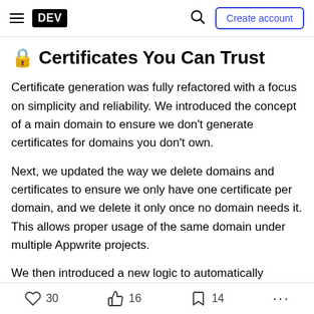DEV | Create account
🔒 Certificates You Can Trust
Certificate generation was fully refactored with a focus on simplicity and reliability. We introduced the concept of a main domain to ensure we don't generate certificates for domains you don't own.
Next, we updated the way we delete domains and certificates to ensure we only have one certificate per domain, and we delete it only once no domain needs it. This allows proper usage of the same domain under multiple Appwrite projects.
30 | 16 | 14 | ...